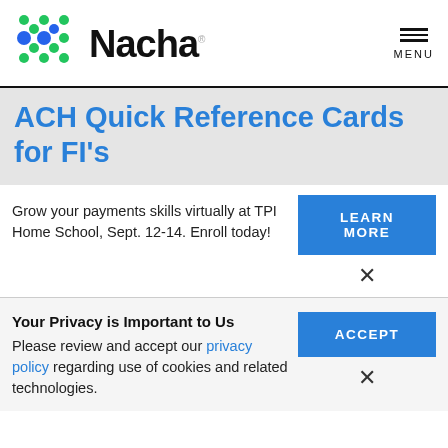[Figure (logo): Nacha logo with colorful dot pattern and bold Nacha wordmark]
ACH Quick Reference Cards for FI's
Grow your payments skills virtually at TPI Home School, Sept. 12-14. Enroll today!
LEARN MORE
Your Privacy is Important to Us
Please review and accept our privacy policy regarding use of cookies and related technologies.
ACCEPT